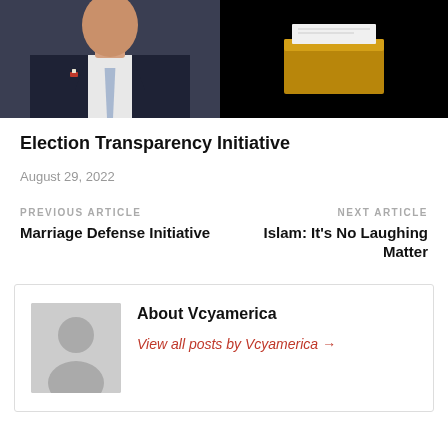[Figure (photo): Left half: man in dark suit with flag pin and light blue tie cropped at chest. Right half: black background with a wooden podium/box object.]
Election Transparency Initiative
August 29, 2022
PREVIOUS ARTICLE
Marriage Defense Initiative
NEXT ARTICLE
Islam: It’s No Laughing Matter
About Vcyamerica
View all posts by Vcyamerica →